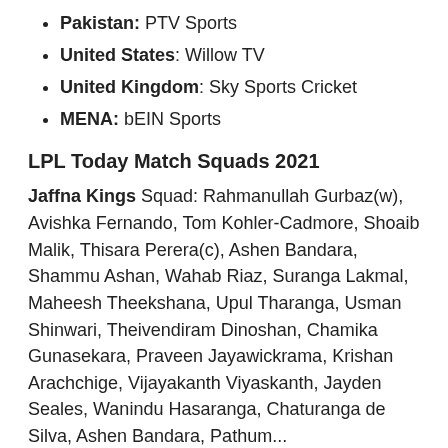Pakistan: PTV Sports
United States: Willow TV
United Kingdom: Sky Sports Cricket
MENA: bEIN Sports
LPL Today Match Squads 2021
Jaffna Kings Squad: Rahmanullah Gurbaz(w), Avishka Fernando, Tom Kohler-Cadmore, Shoaib Malik, Thisara Perera(c), Ashen Bandara, Shammu Ashan, Wahab Riaz, Suranga Lakmal, Maheesh Theekshana, Upul Tharanga, Usman Shinwari, Theivendiram Dinoshan, Chamika Gunasekara, Praveen Jayawickrama, Krishan Arachchige, Vijayakanth Viyaskanth, Jayden Seales, Wanindu Hasaranga, Chaturanga de Silva, Ashen Bandara, Pathum...